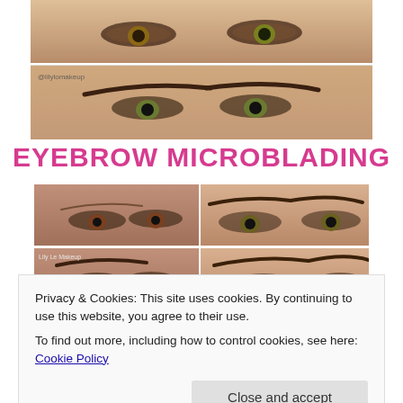[Figure (photo): Two close-up photos of a woman's eyes and eyebrows, stacked vertically. Top photo shows upper face with eyes, second photo has '@lilylomakeup' watermark and shows defined eyebrows after microblading.]
EYEBROW MICROBLADING
[Figure (photo): Four-panel grid of before/after eyebrow microblading photos. Top-left: woman with sparse brows before. Top-right: woman with fuller shaped brows after. Bottom-left: 'Lily Le Makeup' watermark, woman with defined brows. Bottom-right: woman's eyebrow area close-up.]
Privacy & Cookies: This site uses cookies. By continuing to use this website, you agree to their use.
To find out more, including how to control cookies, see here: Cookie Policy
Close and accept